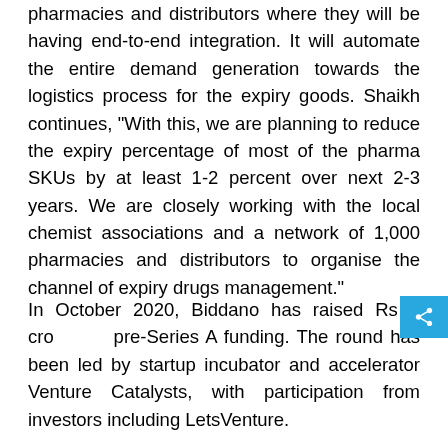pharmacies and distributors where they will be having end-to-end integration. It will automate the entire demand generation towards the logistics process for the expiry goods. Shaikh continues, "With this, we are planning to reduce the expiry percentage of most of the pharma SKUs by at least 1-2 percent over next 2-3 years. We are closely working with the local chemist associations and a network of 1,000 pharmacies and distributors to organise the channel of expiry drugs management."
In October 2020, Biddano has raised Rs 5 crore pre-Series A funding. The round has been led by startup incubator and accelerator Venture Catalysts, with participation from investors including LetsVenture.